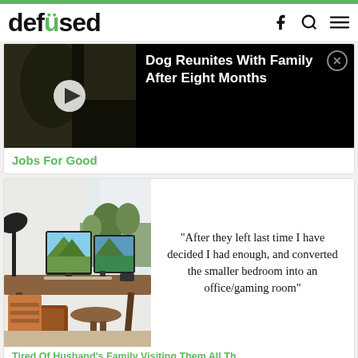defused
[Figure (screenshot): Video thumbnail showing a dog with a play button overlay, next to a black panel with the title 'Dog Reunites With Family After Eight Months' and a close button]
Jobs For Good
[Figure (photo): Home office desk with two monitors, a lamp, chair, and plants by a window]
"After they left last time I have decided I had enough, and converted the smaller bedroom into an office/gaming room"
Tired Of Husband's Family Visiting Them All Th...